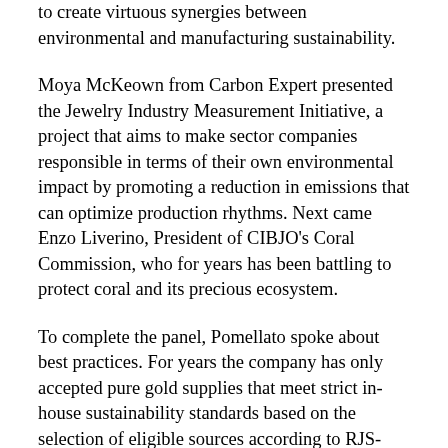to create virtuous synergies between environmental and manufacturing sustainability.
Moya McKeown from Carbon Expert presented the Jewelry Industry Measurement Initiative, a project that aims to make sector companies responsible in terms of their own environmental impact by promoting a reduction in emissions that can optimize production rhythms. Next came Enzo Liverino, President of CIBJO's Coral Commission, who for years has been battling to protect coral and its precious ecosystem.
To complete the panel, Pomellato spoke about best practices. For years the company has only accepted pure gold supplies that meet strict in-house sustainability standards based on the selection of eligible sources according to RJS-CoC certification. Moreover, Pomellato is enacting a project to improve controls on the origin of silver and on the diamond and colored stone supply